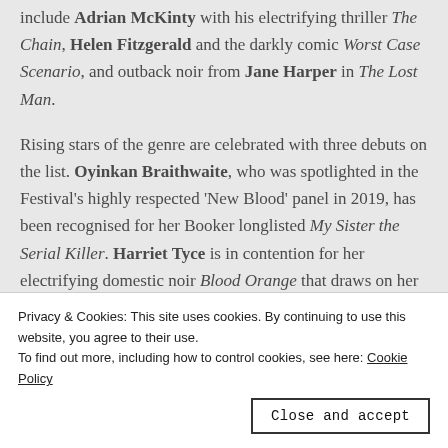include Adrian McKinty with his electrifying thriller The Chain, Helen Fitzgerald and the darkly comic Worst Case Scenario, and outback noir from Jane Harper in The Lost Man.
Rising stars of the genre are celebrated with three debuts on the list. Oyinkan Braithwaite, who was spotlighted in the Festival's highly respected 'New Blood' panel in 2019, has been recognised for her Booker longlisted My Sister the Serial Killer. Harriet Tyce is in contention for her electrifying domestic noir Blood Orange that draws on her own experience as a criminal barrister, and Laura Shepherd-Robinson for the deeply atmospheric Blood & Sugar, bringing
Kerrigan instalment Cruel Acts, Alex North with his chilling
Privacy & Cookies: This site uses cookies. By continuing to use this website, you agree to their use.
To find out more, including how to control cookies, see here: Cookie Policy
Close and accept